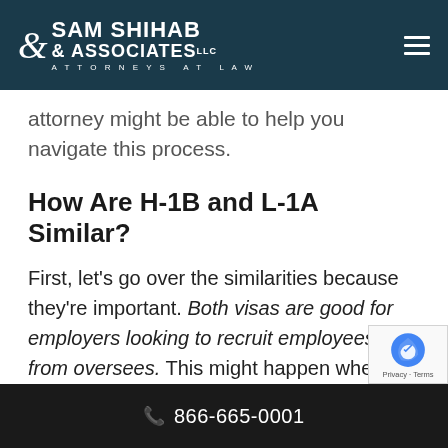Sam Shihab & Associates LLC — Attorneys at Law
attorney might be able to help you navigate this process.
How Are H-1B and L-1A Similar?
First, let's go over the similarities because they're important. Both visas are good for employers looking to recruit employees from oversees. This might happen when a specific type of computer engineering degree is needed to do the job, for example. It's the L-1 visa that tends to be a better fit for multinational enterprises and those w
866-665-0001